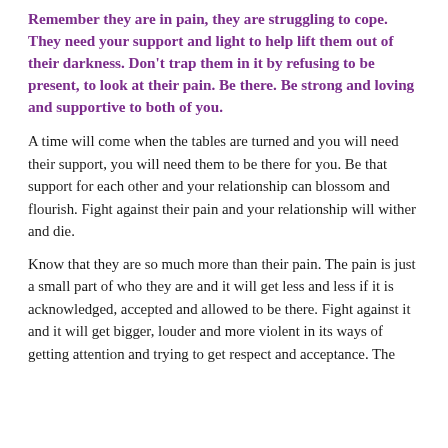Remember they are in pain, they are struggling to cope. They need your support and light to help lift them out of their darkness. Don't trap them in it by refusing to be present, to look at their pain. Be there. Be strong and loving and supportive to both of you.
A time will come when the tables are turned and you will need their support, you will need them to be there for you. Be that support for each other and your relationship can blossom and flourish. Fight against their pain and your relationship will wither and die.
Know that they are so much more than their pain. The pain is just a small part of who they are and it will get less and less if it is acknowledged, accepted and allowed to be there. Fight against it and it will get bigger, louder and more violent in its ways of getting attention and trying to get respect and acceptance. The